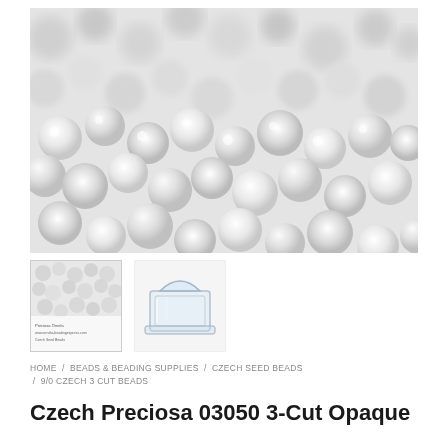[Figure (photo): Close-up photograph of many small white opaque Czech seed beads filling the entire frame]
[Figure (photo): Thumbnail image showing white seed beads with a label, close-up view]
[Figure (photo): Thumbnail image of a clear plastic bead storage container]
HOME / BEADS & BEADING SUPPLIES / CZECH SEED BEADS / 9/0 CZECH 3 CUT BEADS
Czech Preciosa 03050 3-Cut Opaque